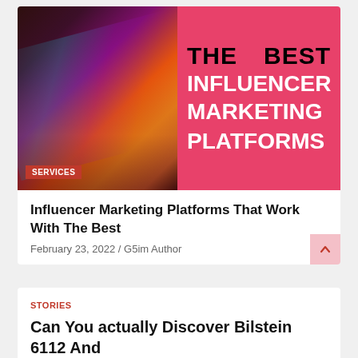[Figure (photo): Blog article card showing a laptop with colorful neon keyboard lighting (left side, dark background with orange/purple/blue gradients) and a pink/red background on the right with bold text reading THE BEST INFLUENCER MARKETING PLATFORMS. A red badge reading SERVICES is overlaid on the photo.]
Influencer Marketing Platforms That Work With The Best
February 23, 2022 / G5im Author
STORIES
Can You actually Discover Bilstein 6112 And